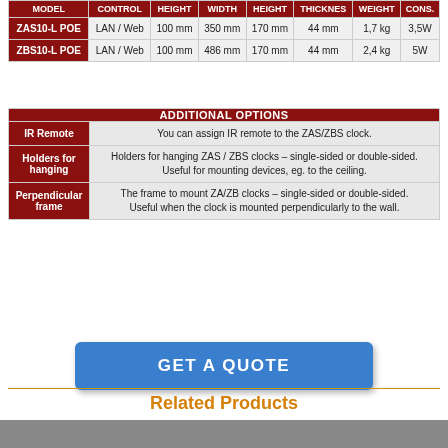| MODEL | CONTROL | HEIGHT | WIDTH | HEIGHT | THICKNES | WEIGHT | CONS. |
| --- | --- | --- | --- | --- | --- | --- | --- |
| ZAS10-L POE | LAN / Web | 100 mm | 350 mm | 170 mm | 44 mm | 1,7 kg | 3,5W |
| ZBS10-L POE | LAN / Web | 100 mm | 486 mm | 170 mm | 44 mm | 2,4 kg | 5W |
| ADDITIONAL OPTIONS |
| --- |
| IR Remote | You can assign IR remote to the ZAS/ZBS clock. |
| Holders for hanging | Holders for hanging ZAS / ZBS clocks – single-sided or double-sided. Useful for mounting devices, eg. to the ceiling. |
| Perpendicular frame | The frame to mount ZA/ZB clocks – single-sided or double-sided. Useful when the clock is mounted perpendicularly to the wall. |
GET A QUOTE
Related Products
Weatherproof Clocks
Please Share